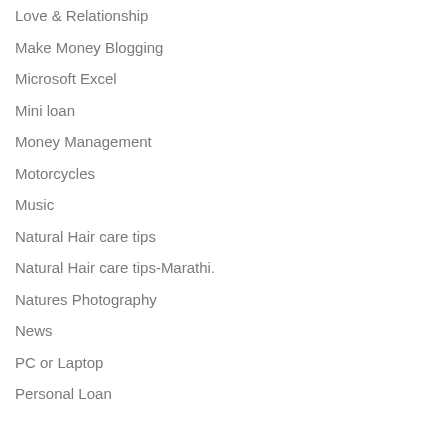Love & Relationship
Make Money Blogging
Microsoft Excel
Mini loan
Money Management
Motorcycles
Music
Natural Hair care tips
Natural Hair care tips-Marathi.
Natures Photography
News
PC or Laptop
Personal Loan